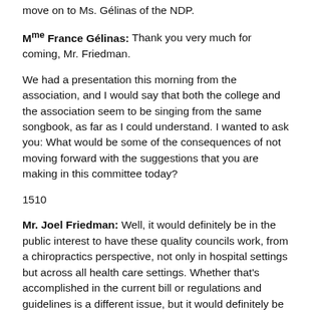move on to Ms. Gélinas of the NDP.
Mme France Gélinas: Thank you very much for coming, Mr. Friedman.
We had a presentation this morning from the association, and I would say that both the college and the association seem to be singing from the same songbook, as far as I could understand. I wanted to ask you: What would be some of the consequences of not moving forward with the suggestions that you are making in this committee today?
1510
Mr. Joel Friedman: Well, it would definitely be in the public interest to have these quality councils work, from a chiropractics perspective, not only in hospital settings but across all health care settings. Whether that's accomplished in the current bill or regulations and guidelines is a different issue, but it would definitely be in